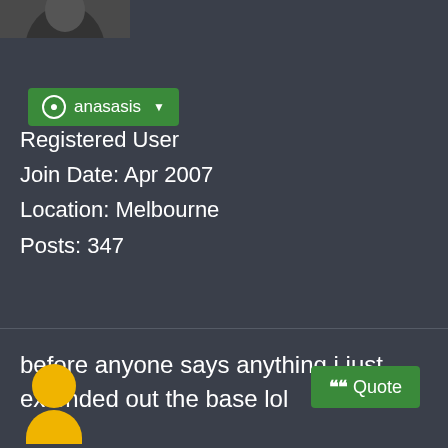[Figure (photo): Partial avatar photo at top left, appears to be a dark/blurred image of a person]
anasasis
Registered User
Join Date: Apr 2007
Location: Melbourne
Posts: 347
before anyone says anything i just extended out the base lol
[Figure (illustration): Yellow generic user avatar icon at bottom left]
Quote